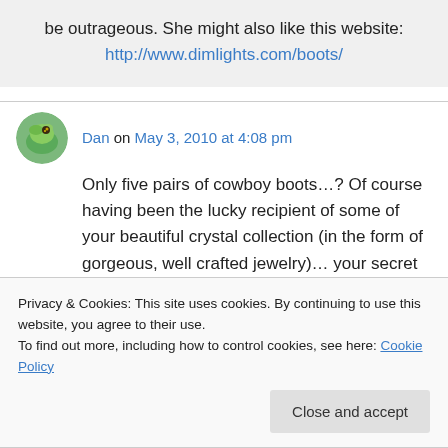be outrageous. She might also like this website: http://www.dimlights.com/boots/
Dan on May 3, 2010 at 4:08 pm
Only five pairs of cowboy boots…? Of course having been the lucky recipient of some of your beautiful crystal collection (in the form of gorgeous, well crafted jewelry)… your secret is safe with me. Hahaha. Harness the mania baby!!
Privacy & Cookies: This site uses cookies. By continuing to use this website, you agree to their use.
To find out more, including how to control cookies, see here: Cookie Policy